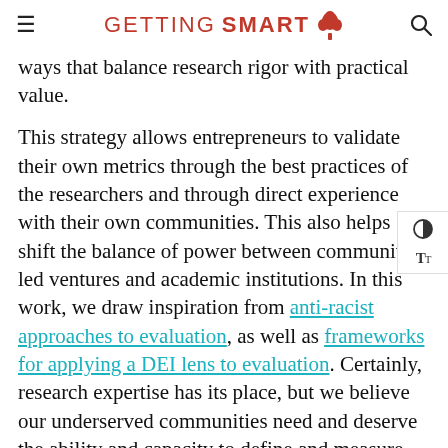GETTING SMART
ways that balance research rigor with practical value.
This strategy allows entrepreneurs to validate their own metrics through the best practices of the researchers and through direct experience with their own communities. This also helps shift the balance of power between community led ventures and academic institutions. In this work, we draw inspiration from anti-racist approaches to evaluation, as well as frameworks for applying a DEI lens to evaluation. Certainly, research expertise has its place, but we believe our underserved communities need and deserve the ability and capacity to define and measure their